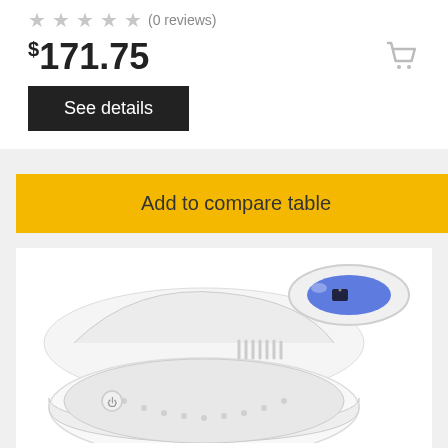★★★★★ (0 reviews)
$171.75
See details
Add to compare table
[Figure (photo): White UV sanitizer box open showing interior, with a smaller oval device featuring blue UV light on top right, both devices shown as product images on white background.]